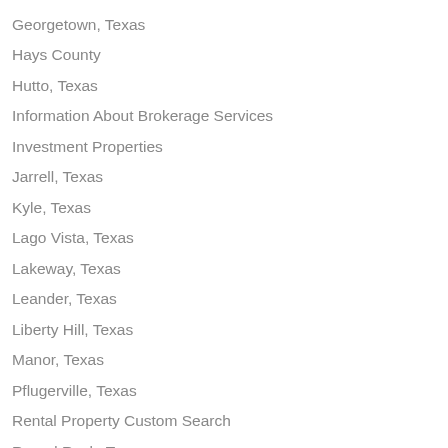Georgetown, Texas
Hays County
Hutto, Texas
Information About Brokerage Services
Investment Properties
Jarrell, Texas
Kyle, Texas
Lago Vista, Texas
Lakeway, Texas
Leander, Texas
Liberty Hill, Texas
Manor, Texas
Pflugerville, Texas
Rental Property Custom Search
Round Rock, Texas